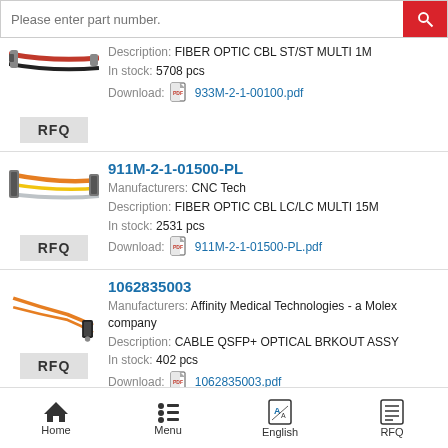Please enter part number. [Search bar]
Description: FIBER OPTIC CBL ST/ST MULTI 1M
In stock: 5708 pcs
Download: 933M-2-1-00100.pdf
911M-2-1-01500-PL
Manufacturers: CNC Tech
Description: FIBER OPTIC CBL LC/LC MULTI 15M
In stock: 2531 pcs
Download: 911M-2-1-01500-PL.pdf
1062835003
Manufacturers: Affinity Medical Technologies - a Molex company
Description: CABLE QSFP+ OPTICAL BRKOUT ASSY
In stock: 402 pcs
Download: 1062835003.pdf
N520-20M
Home   Menu   English   RFQ